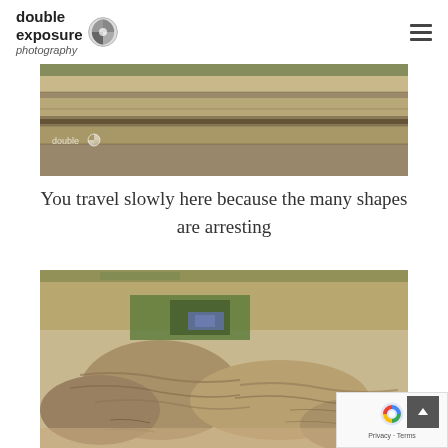double exposure photography
[Figure (photo): Horizontal strip photo of layered sandstone rock formations with some green vegetation, viewed from above. Watermark 'double' with a shutter logo visible.]
You travel slowly here because the many shapes are arresting
[Figure (photo): Close-up photo of rounded, textured layered sandstone rocks with patches of green and blue-purple wildflowers growing in crevices between the formations.]